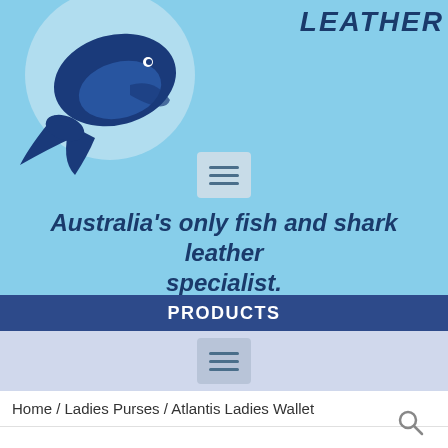[Figure (logo): Blue whale logo on light blue background with partial company name 'LEATHER' visible in top right]
Australia's only fish and shark leather specialist.
PRODUCTS
Home / Ladies Purses / Atlantis Ladies Wallet